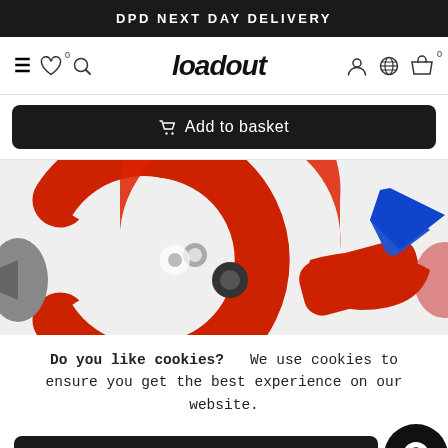DPD NEXT DAY DELIVERY
[Figure (screenshot): Navigation bar with hamburger menu, heart/wishlist icon with 0 badge, search icon on left; Loadout brand logo in center; user/account icon, globe/language icon, basket icon with 0 badge on right]
🛒 Add to basket
[Figure (photo): Close-up product photo of a red pipe cutter tool with a blue blade/lever mechanism against a white background]
Do you like cookies?   We use cookies to ensure you get the best experience on our website.
Accept cookies